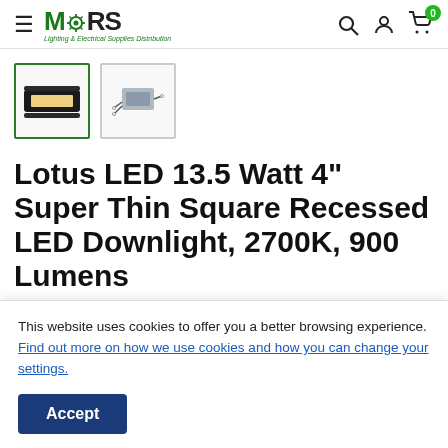[Figure (logo): MARS Lighting & Electrical Supplies Distribution logo with green M and gear icon]
[Figure (photo): Two product thumbnails: selected thumbnail shows black square recessed LED downlight, second thumbnail shows driver/component with wires]
Lotus LED 13.5 Watt 4" Super Thin Square Recessed LED Downlight, 2700K, 900 Lumens
This website uses cookies to offer you a better browsing experience. Find out more on how we use cookies and how you can change your settings.
Accept
LOTUS LED